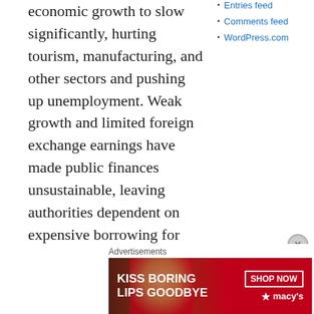economic growth to slow significantly, hurting tourism, manufacturing, and other sectors and pushing up unemployment. Weak growth and limited foreign exchange earnings have made public finances unsustainable, leaving authorities dependent on expensive borrowing for deficit finance and on Gulf allies to help cover the import bill. Egypt's current Constitution passed in a referendum that took place in January 2014.
Entries feed
Comments feed
WordPress.com
GDP
$945.4 billion (2014 est.)
$935 billion (2013 est.)
Advertisements
[Figure (other): Advertisement banner for Macy's lipstick: KISS BORING LIPS GOODBYE with SHOP NOW button and Macy's star logo, featuring a woman's face in background]